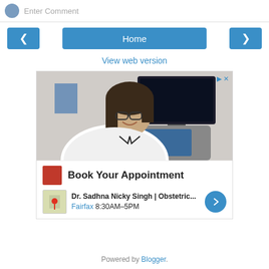Enter Comment
[Figure (screenshot): Navigation bar with left arrow button, Home button, and right arrow button]
View web version
[Figure (photo): Advertisement showing a female doctor in white coat smiling next to ultrasound equipment. Ad reads: Book Your Appointment - Dr. Sadhna Nicky Singh | Obstetric... Fairfax 8:30AM-5PM]
Powered by Blogger.